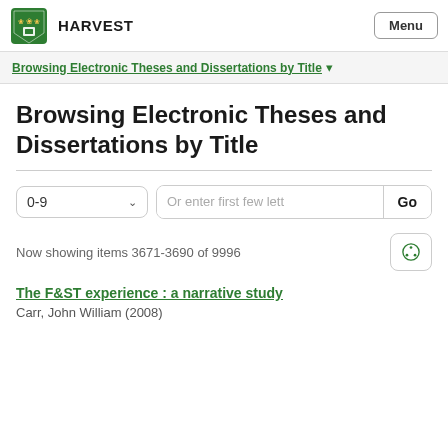HARVEST  Menu
Browsing Electronic Theses and Dissertations by Title ▾
Browsing Electronic Theses and Dissertations by Title
Now showing items 3671-3690 of 9996
The F&ST experience : a narrative study
Carr, John William (2008)